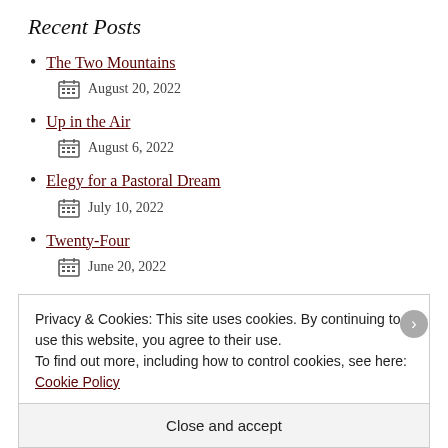Recent Posts
The Two Mountains
August 20, 2022
Up in the Air
August 6, 2022
Elegy for a Pastoral Dream
July 10, 2022
Twenty-Four
June 20, 2022
Ten Years
June 10, 2022
Privacy & Cookies: This site uses cookies. By continuing to use this website, you agree to their use.
To find out more, including how to control cookies, see here: Cookie Policy
Close and accept